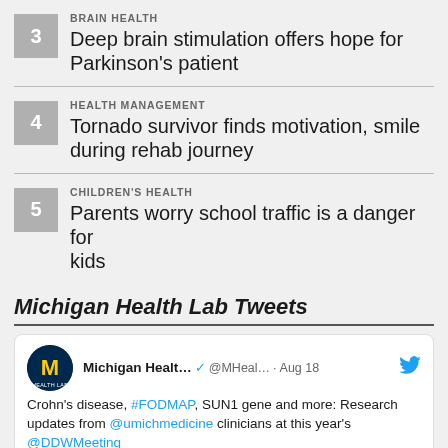3 BRAIN HEALTH Deep brain stimulation offers hope for Parkinson's patient
4 HEALTH MANAGEMENT Tornado survivor finds motivation, smile during rehab journey
5 CHILDREN'S HEALTH Parents worry school traffic is a danger for kids
Michigan Health Lab Tweets
Michigan Healt... @MHeal... · Aug 18 Crohn's disease, #FODMAP, SUN1 gene and more: Research updates from @umichmedicine clinicians at this year's @DDWMeeting michmed.org/RW9rz